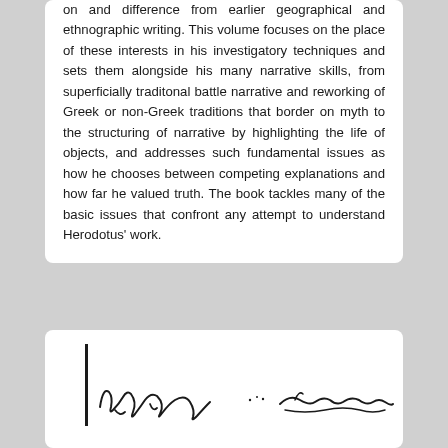on and difference from earlier geographical and ethnographic writing. This volume focuses on the place of these interests in his investigatory techniques and sets them alongside his many narrative skills, from superficially traditonal battle narrative and reworking of Greek or non-Greek traditions that border on myth to the structuring of narrative by highlighting the life of objects, and addresses such fundamental issues as how he chooses between competing explanations and how far he valued truth. The book tackles many of the basic issues that confront any attempt to understand Herodotus' work.
[Figure (illustration): A handwritten signature or cursive writing fragment, partially visible at the bottom of the page, with a vertical bar on the left side.]